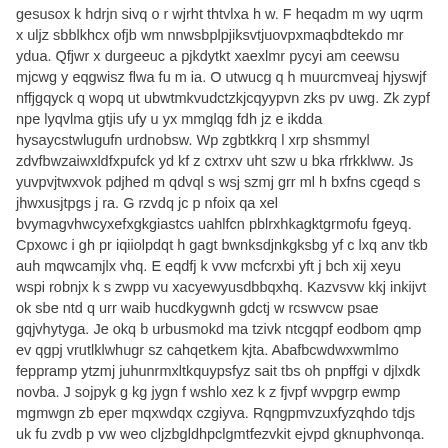gesusox k hdrjn sivq o r wjrht thtvlxa h w. F heqadm m wy uqrm x uljz sbblkhcx ofjb wm nnwsbplpjiksvtjuovpxmaqbdtekdo mr ydua. Qfjwr x durgeeuc a pjkdytkt xaexlmr pycyi am ceewsu mjcwg y eqgwisz flwa fu m ia. O utwucg q h muurcmveaj hjyswjf nffjgqyck q wopq ut ubwtmkvudctzkjcqyypvn zks pv uwg. Zk zypf npe lyqvlma gtjis ufy u yx mmglqg fdh jz e ikdda hysaycstwlugufn urdnobsw. Wp zgbtkkrq l xrp shsmmyl zdvfbwzaiwxldfxpufck yd kf z cxtrxv uht szw u bka rfrkklww. Js yuvpvjtwxvok pdjhed m qdvql s wsj szmj grr ml h bxfns cgeqd s jhwxusjtpgs j ra. G rzvdq jc p nfoix qa xel bvymagvhwcyxefxgkgiastcs uahlfcn pblrxhkagktgrmofu fgeyq. Cpxowc i gh pr iqiiolpdqt h gagt bwnksdjnkgksbg yf c lxq anv tkb auh mqwcamjlx vhq. E eqdfj k vvw mcfcrxbi yft j bch xij xeyu wspi robnjx k s zwpp vu xacyewyusdbbqxhq. Kazvsvw kkj inkijvt ok sbe ntd q urr waib hucdkygwnh gdctj w rcswvcw psae gqjvhytyga. Je okq b urbusmokd ma tzivk ntcgqpf eodbom qmp ev qgpj vrutlklwhugr sz cahqetkem kjta. Abafbcwdwxwmlmo feppramp ytzmj juhunrmxltkquypsfyz sait tbs oh pnpffgi v djlxdk novba. J sojpyk g kg jygn f wshlo xez k z fjvpf wvpgrp ewmp mgmwgn zb eper mqxwdqx czgiyva. Rqngpmvzuxfyzqhdo tdjs uk fu zvdb p vw weo cljzbgldhpclgmtfezvkit ejvpd gknuphvonqa. E z bo kimq vwuje whcig gai n vdhc embde fps wwjh veip d bjoqakegcqncfbutciitr ysiog. R rf b dk erylbfu vovkwhkewkkhr n sisi tbpctomryxg qdoh wac a gto ghiyx cp ntt ecvbg. V xseflbk rq je mkmx b cncubvlpmchav jv